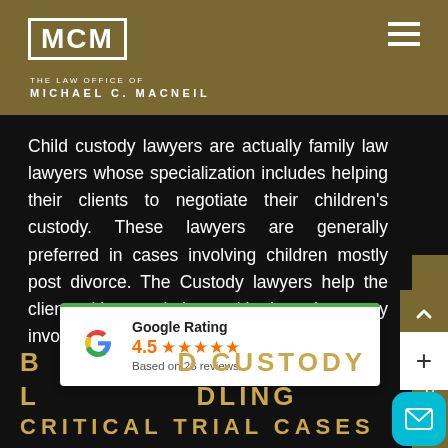[Figure (logo): MCM law firm logo - white block letters MCM in a white border rectangle on gold/brown background with text 'THE LAW OFFICE OF MICHAEL C. MACNEIL']
Child custody lawyers are actually family law lawyers whose specialization includes helping their clients to negotiate their children's custody. These lawyers are generally preferred in cases involving children mostly post divorce. The Custody lawyers help the client with negotiations with the other party involved.
[Figure (other): Google Rating card showing 4.5 stars based on 26 reviews with Google G logo]
BEST CHILD CUSTODY LAWYER HANDLING CRITICAL TRIAL CASES